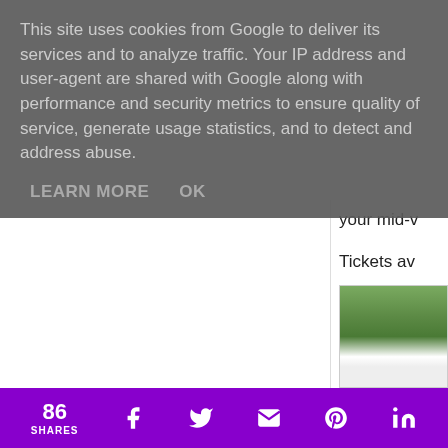This site uses cookies from Google to deliver its services and to analyze traffic. Your IP address and user-agent are shared with Google along with performance and security metrics to ensure quality of service, generate usage statistics, and to detect and address abuse.
LEARN MORE    OK
your mid-v
Tickets av
[Figure (photo): Partial view of greenery/trees with a white railing or fence visible at the bottom, viewed from a balcony or elevated position]
86 SHARES [Facebook icon] [Twitter icon] [Email icon] [Pinterest icon] [LinkedIn icon]